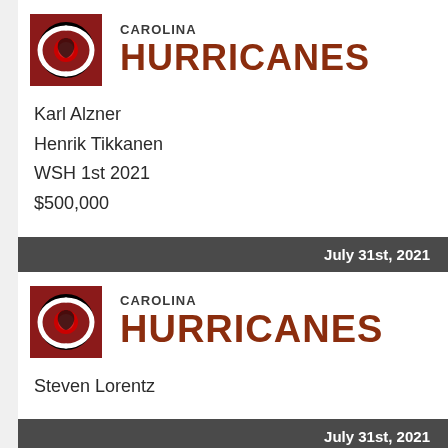[Figure (logo): Carolina Hurricanes NHL team logo on dark red background]
CAROLINA HURRICANES
Karl Alzner
Henrik Tikkanen
WSH 1st 2021
$500,000
July 31st, 2021
[Figure (logo): Carolina Hurricanes NHL team logo on dark red background]
CAROLINA HURRICANES
Steven Lorentz
July 31st, 2021
[Figure (logo): Los Angeles Kings NHL team logo on black background]
LOS ANGELES KINGS